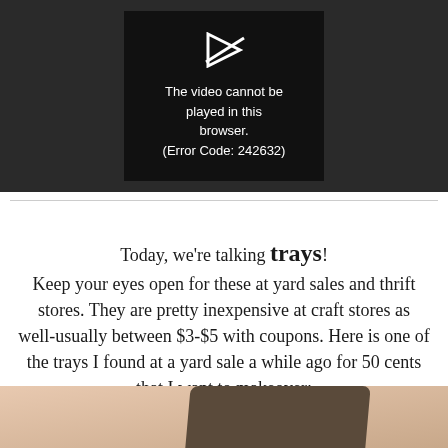[Figure (screenshot): Video player showing error message: The video cannot be played in this browser. (Error Code: 242632), with a video play icon at the top on a dark background.]
Today, we're talking trays! Keep your eyes open for these at yard sales and thrift stores. They are pretty inexpensive at craft stores as well-usually between $3-$5 with coupons. Here is one of the trays I found at a yard sale a while ago for 50 cents that I want to makeover:
[Figure (photo): Partial photo of a tray with a peach/light orange background and a dark wooden tray element visible at the bottom.]